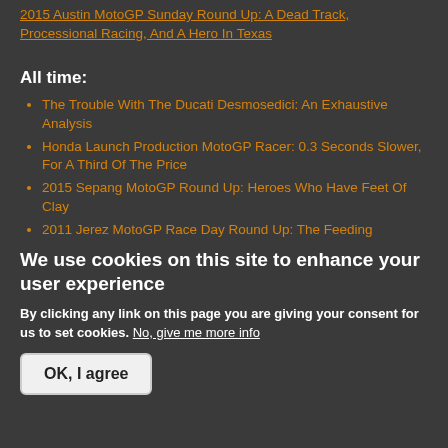2015 Austin MotoGP Sunday Round Up: A Dead Track, Processional Racing, And A Hero In Texas
All time:
The Trouble With The Ducati Desmosedici: An Exhaustive Analysis
Honda Launch Production MotoGP Racer: 0.3 Seconds Slower, For A Third Of The Price
2015 Sepang MotoGP Round Up: Heroes Who Have Feet Of Clay
2011 Jerez MotoGP Race Day Round Up: The Feeding
We use cookies on this site to enhance your user experience
By clicking any link on this page you are giving your consent for us to set cookies. No, give me more info
OK, I agree